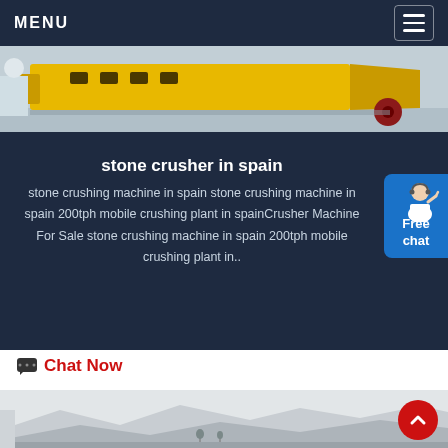MENU
[Figure (photo): Yellow industrial stone crusher machinery on a concrete surface]
stone crusher in spain
stone crushing machine in spain stone crushing machine in spain 200tph mobile crushing plant in spainCrusher Machine For Sale stone crushing machine in spain 200tph mobile crushing plant in..
Free chat
Chat Now
[Figure (photo): Outdoor landscape with mountains and hazy sky, partial view of industrial equipment]